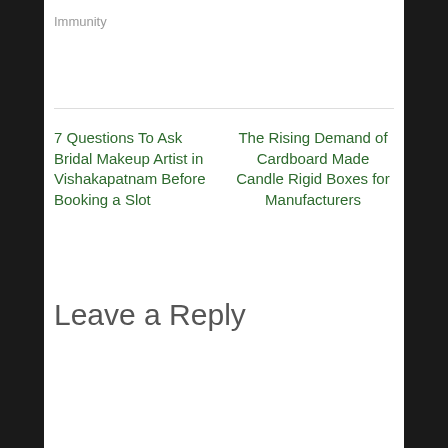Immunity
7 Questions To Ask Bridal Makeup Artist in Vishakapatnam Before Booking a Slot
The Rising Demand of Cardboard Made Candle Rigid Boxes for Manufacturers
Leave a Reply